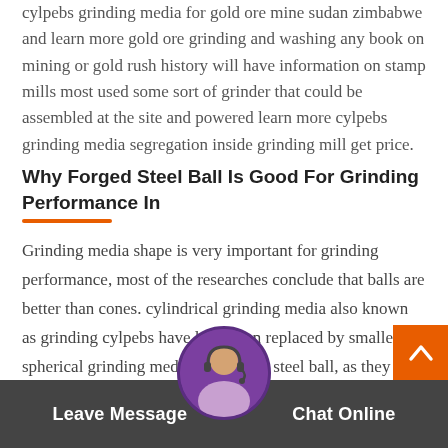cylpebs grinding media for gold ore mine sudan zimbabwe and learn more gold ore grinding and washing any book on mining or gold rush history will have information on stamp mills most used some sort of grinder that could be assembled at the site and powered learn more cylpebs grinding media segregation inside grinding mill get price.
Why Forged Steel Ball Is Good For Grinding Performance In
Grinding media shape is very important for grinding performance, most of the researches conclude that balls are better than cones. cylindrical grinding media also known as grinding cylpebs have long been replaced by smaller spherical grinding media like forged steel ball, as they have been found to be one of the most important variables is the surface area or string